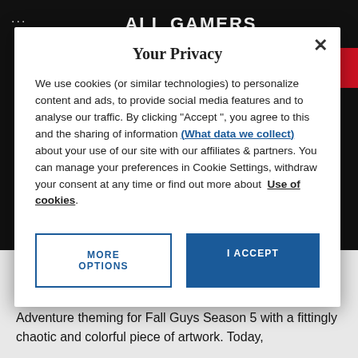ALL GAMERS
Your Privacy
We use cookies (or similar technologies) to personalize content and ads, to provide social media features and to analyse our traffic. By clicking "Accept ", you agree to this and the sharing of information (What data we collect) about your use of our site with our affiliates & partners. You can manage your preferences in Cookie Settings, withdraw your consent at any time or find out more about Use of cookies.
MORE OPTIONS
I ACCEPT
Last week developer Mediatonic teased the Jungle Adventure theming for Fall Guys Season 5 with a fittingly chaotic and colorful piece of artwork. Today, the Mediatonic...